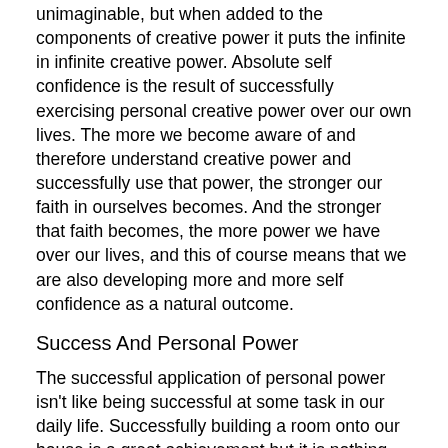unimaginable, but when added to the components of creative power it puts the infinite in infinite creative power. Absolute self confidence is the result of successfully exercising personal creative power over our own lives. The more we become aware of and therefore understand creative power and successfully use that power, the stronger our faith in ourselves becomes. And the stronger that faith becomes, the more power we have over our lives, and this of course means that we are also developing more and more self confidence as a natural outcome.
Success And Personal Power
The successful application of personal power isn't like being successful at some task in our daily life. Successfully building a room onto our house is a great achievement but it is nothing compared to finding the strength and courage to become aware of some negative limiting belief that is affecting our life in a destructive manner and taking the necessary steps to replace that belief with a more constructive one and thereby eliminating an obstruction to personal growth. While the successful completion and realization of an additional room to the house is a great confidence builder, successfully overcoming the fear of the unknown and